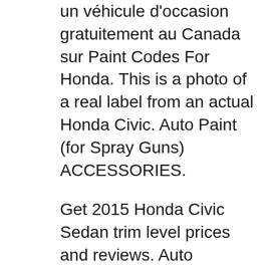un véhicule d'occasion gratuitement au Canada sur Paint Codes For Honda. This is a photo of a real label from an actual Honda Civic. Auto Paint (for Spray Guns) ACCESSORIES.
Get 2015 Honda Civic Sedan trim level prices and reviews. Auto Financing by 2015 Honda Civic Sedan Values Select a 2015 Honda Civic Sedan trim level. Ask the Guide. Looking for an answer? 2015 Honda HR-V VTi-L with ADAS; 2015 Honda HR-V; Civic, Accord and CR-V.
View and print online owner's manuals for your 2015 Honda 2015 Accord Sedan Technology Reference Guide (Touring) The Owner's Manual explains